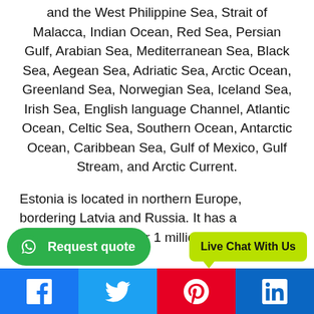and the West Philippine Sea, Strait of Malacca, Indian Ocean, Red Sea, Persian Gulf, Arabian Sea, Mediterranean Sea, Black Sea, Aegean Sea, Adriatic Sea, Arctic Ocean, Greenland Sea, Norwegian Sea, Iceland Sea, Irish Sea, English language Channel, Atlantic Ocean, Celtic Sea, Southern Ocean, Antarctic Ocean, Caribbean Sea, Gulf of Mexico, Gulf Stream, and Arctic Current.
Estonia is located in northern Europe, bordering Latvia and Russia. It has a population of just over 1 million inhabitants Tallinn. The offic
[Figure (screenshot): Request quote green WhatsApp button and Live Chat With Us yellow-green button overlay]
[Figure (infographic): Social share bar with Facebook, Twitter, Pinterest, LinkedIn buttons]